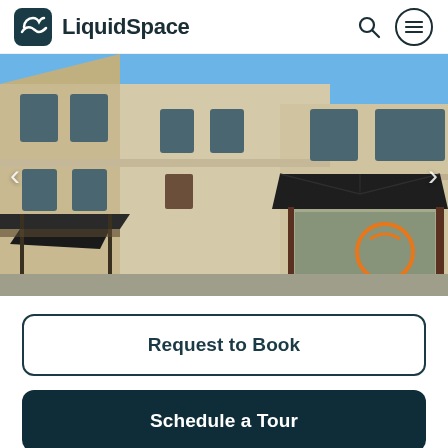LiquidSpace
[Figure (photo): Exterior photo of a commercial building with beige/tan stucco walls, dark metal awnings over entrance, and large windows. The right side shows a covered entrance with a dark metal hip roof structure and an orange circular logo visible through the glass.]
Request to Book
Schedule a Tour